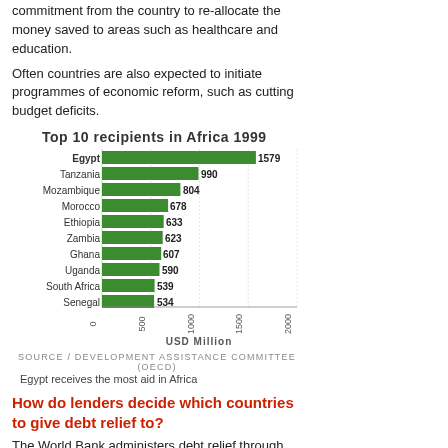commitment from the country to re-allocate the money saved to areas such as healthcare and education.
Often countries are also expected to initiate programmes of economic reform, such as cutting budget deficits.
[Figure (bar-chart): Top 10 recipients in Africa 1999]
SOURCE / DEVELOPMENT ASSISTANCE COMMITTEE (OECD)
Egypt receives the most aid in Africa
How do lenders decide which countries to give debt relief to?
The World Bank administers debt relief through its heavily indebted poor countries (HIPC) initiative, set up in 1997.